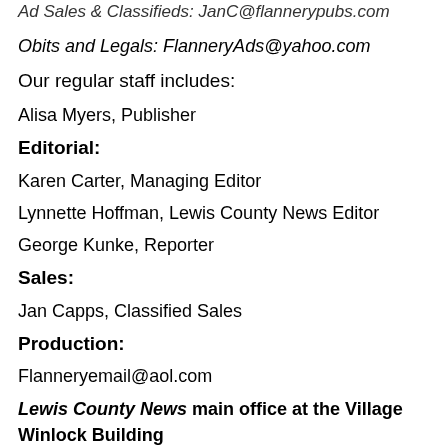Ad Sales & Classifieds: JanC@flannerypubs.com
Obits and Legals: FlanneryAds@yahoo.com
Our regular staff includes:
Alisa Myers, Publisher
Editorial:
Karen Carter, Managing Editor
Lynnette Hoffman, Lewis County News Editor
George Kunke, Reporter
Sales:
Jan Capps, Classified Sales
Production:
Flanneryemail@aol.com
Lewis County News main office at the Village Winlock Building (202 NE First St., Winlock, Wash.)
Those wishing to contact The Lewis County News may do so through any of the following methods: